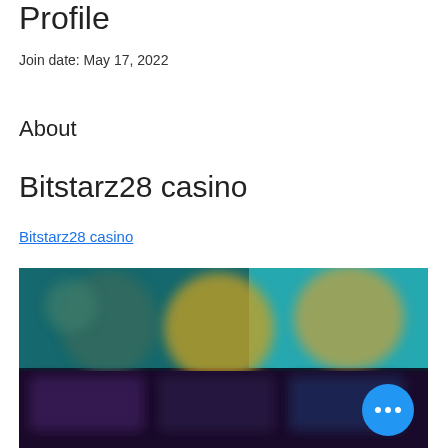Profile
Join date: May 17, 2022
About
Bitstarz28 casino
Bitstarz28 casino
[Figure (screenshot): Blurred screenshot of a casino website showing game thumbnails with colorful characters and dark background, with a blue circular more-options button in the bottom right corner.]